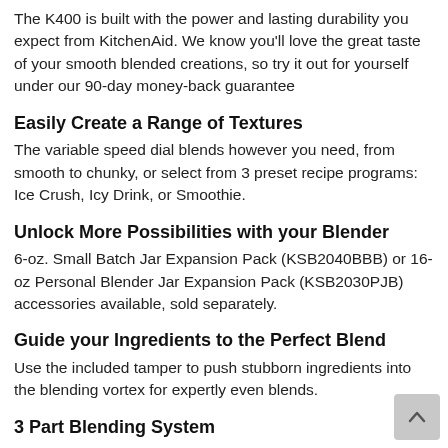The K400 is built with the power and lasting durability you expect from KitchenAid. We know you'll love the great taste of your smooth blended creations, so try it out for yourself under our 90-day money-back guarantee
Easily Create a Range of Textures
The variable speed dial blends however you need, from smooth to chunky, or select from 3 preset recipe programs: Ice Crush, Icy Drink, or Smoothie.
Unlock More Possibilities with your Blender
6-oz. Small Batch Jar Expansion Pack (KSB2040BBB) or 16-oz Personal Blender Jar Expansion Pack (KSB2030PJB) accessories available, sold separately.
Guide your Ingredients to the Perfect Blend
Use the included tamper to push stubborn ingredients into the blending vortex for expertly even blends.
3 Part Blending System
With the combined power of the blender's vortex-creating ribbed jar design, and unique asymmetric blade, blending is a breeze. Add to that the smarts behind the Intelli-Speed® Motor Control, which automatically senses